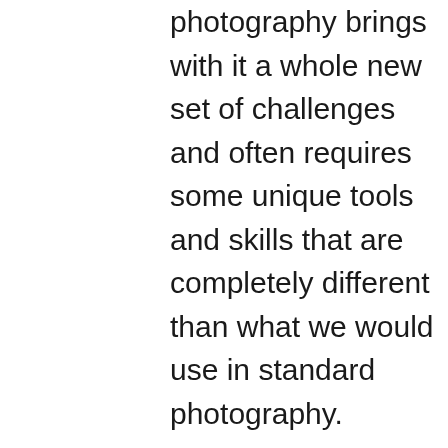photography brings with it a whole new set of challenges and often requires some unique tools and skills that are completely different than what we would use in standard photography.

First off, let's do our best to define what macro photography is. A simple Google search defines it as